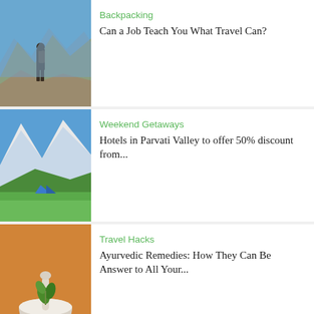[Figure (photo): Person with backpack looking at mountain landscape]
Backpacking
Can a Job Teach You What Travel Can?
[Figure (photo): Green mountain valley with tent and snow-capped peaks]
Weekend Getaways
Hotels in Parvati Valley to offer 50% discount from...
[Figure (photo): Mortar and pestle with herbs on orange background]
Travel Hacks
Ayurvedic Remedies: How They Can Be Answer to All Your...
[Figure (photo): Kedarnath Temple with snow and crowd of visitors]
Uttarakhand
Kedarnath Temple Reopened For Local Pilgrims
[Figure (photo): Spiti Valley with colorful prayer flags and snow mountains]
Spiti Valley
Spiti Valley Opens for Travelling in 2021